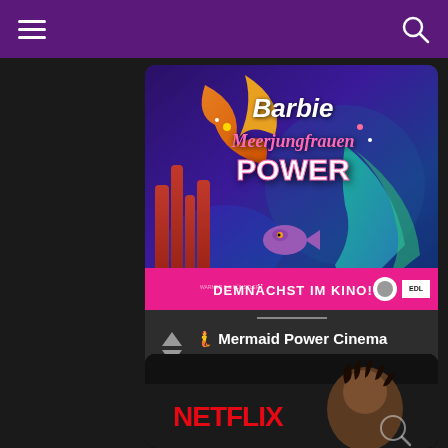Navigation bar with hamburger menu and search icon
[Figure (illustration): Barbie Meerjungfrauen Power animated movie cinema poster with colorful underwater scene and pink banner reading DEMNÄCHST IM KINO!]
🧜 Mermaid Power Cinema Poster
added by Keira17
[Figure (photo): Netflix content card showing partial view of a person with locs and the Netflix logo in red on black background]